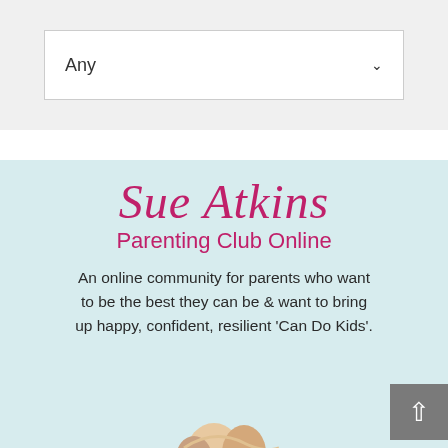Any
Sue Atkins Parenting Club Online
An online community for parents who want to be the best they can be & want to bring up happy, confident, resilient 'Can Do Kids'.